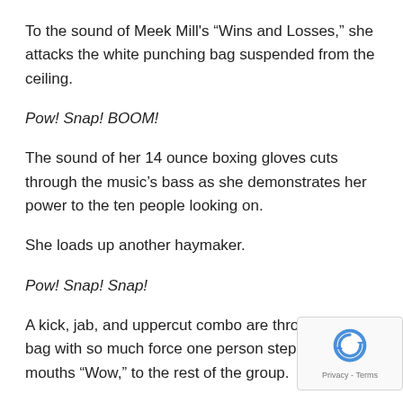To the sound of Meek Mill's “Wins and Losses,” she attacks the white punching bag suspended from the ceiling.
Pow! Snap! BOOM!
The sound of her 14 ounce boxing gloves cuts through the music’s bass as she demonstrates her power to the ten people looking on.
She loads up another haymaker.
Pow! Snap! Snap!
A kick, jab, and uppercut combo are thrown at the bag with so much force one person steps back and mouths “Wow,” to the rest of the group.
No, she’s not training for a title bout or a professional She’s just doing what she loves: helping people.